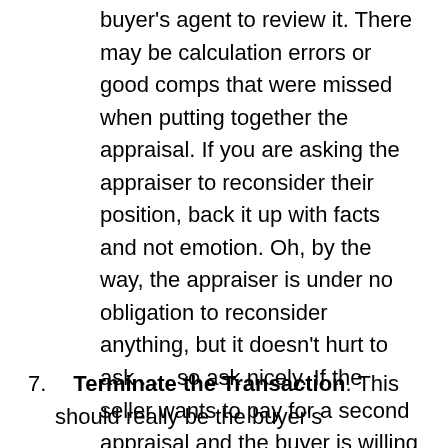buyer's agent to review it. There may be calculation errors or good comps that were missed when putting together the appraisal. If you are asking the appraiser to reconsider their position, back it up with facts and not emotion. Oh, by the way, the appraiser is under no obligation to reconsider anything, but it doesn't hurt to ask . . . so ask nicely. If the seller wants to pay for a second appraisal and the buyer is willing to support that request, make that request known to the lender. Keep in mind that the lender is also under no obligation to honor the appeal.
7. Terminate the Transaction. This should really be the buyer's